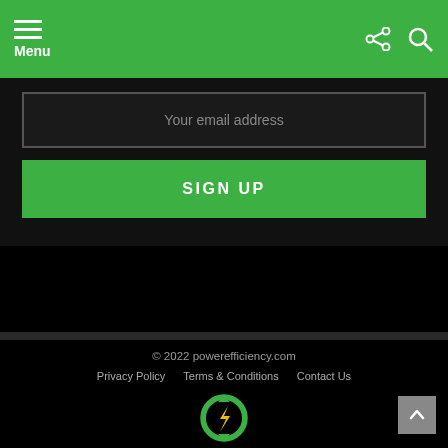Menu
Your email address
SIGN UP
FIND US ON FACEBOOK
© 2022 powerefficiency.com
Privacy Policy   Terms & Conditions   Contact Us
[Figure (logo): Power efficiency logo: circular green arrows with yellow lightning bolt]